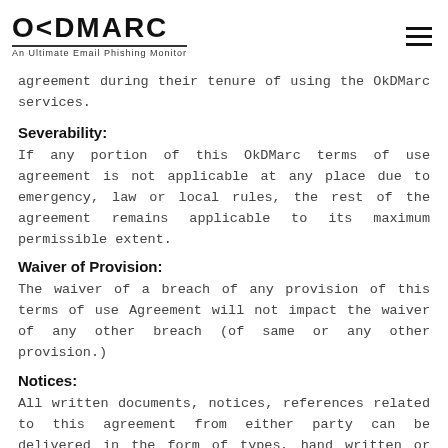OKDMARC An Ultimate Email Phishing Monitor
agreement during their tenure of using the OkDMarc services.
Severability:
If any portion of this OkDMarc terms of use agreement is not applicable at any place due to emergency, law or local rules, the rest of the agreement remains applicable to its maximum permissible extent.
Waiver of Provision:
The waiver of a breach of any provision of this terms of use Agreement will not impact the waiver of any other breach (of same or any other provision.)
Notices:
All written documents, notices, references related to this agreement from either party can be delivered in the form of types, hand written or email document. For